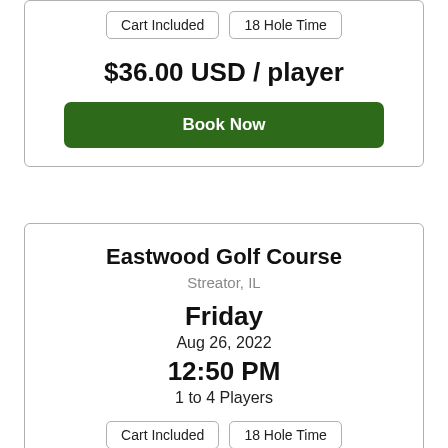Cart Included
18 Hole Time
$36.00 USD / player
Book Now
Eastwood Golf Course
Streator, IL
Friday
Aug 26, 2022
12:50 PM
1 to 4 Players
Cart Included
18 Hole Time
$36.00 USD / player